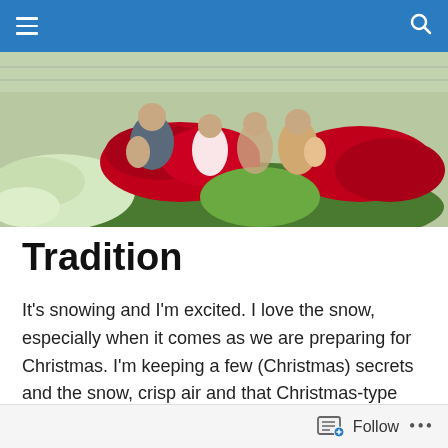Navigation bar with menu and search icons
[Figure (photo): Group of children posing in front of rows of red and white poinsettia flowers in a greenhouse. An older boy holds a baby on the left, two girls stand in the center, and another person holds a toddler on the right.]
Tradition
It's snowing and I'm excited. I love the snow, especially when it comes as we are preparing for Christmas. I'm keeping a few (Christmas) secrets and the snow, crisp air and that Christmas-type feeling make it just a little bit easier to hold out. I'm the type of person that wants to tell
Follow •••